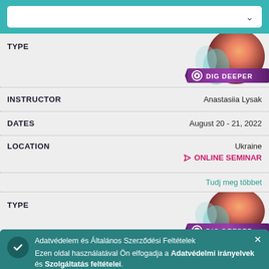Search box with dropdown chevron
TYPE
[Figure (illustration): Dig Deeper seminar logo with abstract globe/brain image and purple ribbon banner reading DIG DEEPER]
INSTRUCTOR
Anastasiia Lysak
DATES
August 20 - 21, 2022
LOCATION
Ukraine
ONLINE SEMINAR
Tudj meg többet
TYPE
[Figure (illustration): Dig Deeper seminar logo second instance]
IN
ura
DATES
August 20 - 21, 2022
Adatvédelem és Általános Szerződési Feltételek Ezen oldal használatával Ön elfogadja a Adatvédelmi irányelvek és Szolgáltatás feltételei.